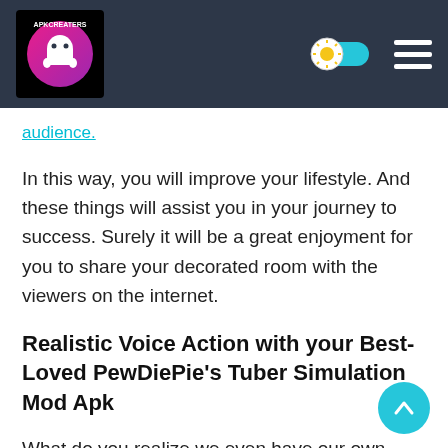APKCreaters logo and navigation header
audience.
In this way, you will improve your lifestyle. And these things will assist you in your journey to success. Surely it will be a great enjoyment for you to share your decorated room with the viewers on the internet.
Realistic Voice Action with your Best-Loved PewDiePie’s Tuber Simulation Mod Apk
What do you realize we even have our own PewDiePie characters being vocalized by PewDiePie himself. Explore playing this incredible game and interconnect with your best-loved Youtuber in several ways. Reinforce his videos to administer the evil Teaseries and declare the first position the Youtuber Grading for your channel.